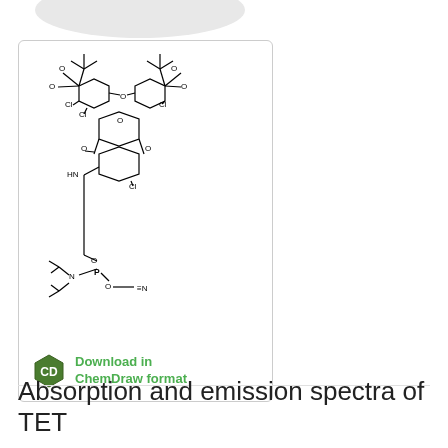[Figure (illustration): Partial view of a white/grey oval pill or tablet container at top of page]
[Figure (engineering-diagram): Chemical structure diagram of TET (tetrachlorofluorescein) phosphoramidite showing the complex organic molecule with chlorine substituents, tert-butyl ester groups, and a phosphoramidite linker chain ending in a nitrile group. Includes a ChemDraw download icon and link at bottom.]
Download in ChemDraw format
Absorption and emission spectra of TET